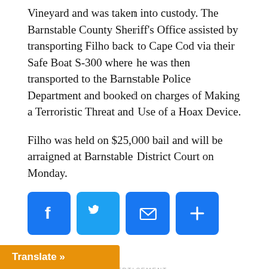Vineyard and was taken into custody. The Barnstable County Sheriff's Office assisted by transporting Filho back to Cape Cod via their Safe Boat S-300 where he was then transported to the Barnstable Police Department and booked on charges of Making a Terroristic Threat and Use of a Hoax Device.
Filho was held on $25,000 bail and will be arraigned at Barnstable District Court on Monday.
[Figure (infographic): Social share buttons: Facebook (blue), Twitter (blue), Email (blue), More/Plus (blue)]
RELATED TOPICS:
ADVERTISEMENT
CLICK TO COMMENT
Translate »